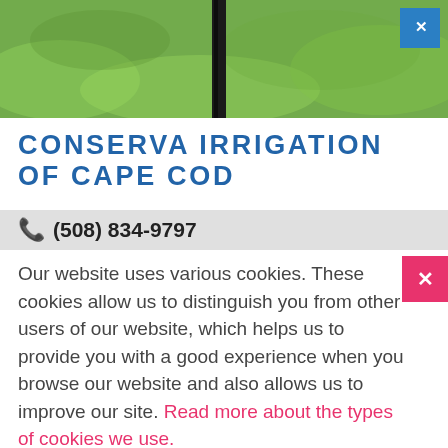[Figure (photo): Close-up photo of green grass with a dark vertical pole/stake in the center]
CONSERVA IRRIGATION OF CAPE COD
(508) 834-9797
Our website uses various cookies. These cookies allow us to distinguish you from other users of our website, which helps us to provide you with a good experience when you browse our website and also allows us to improve our site. Read more about the types of cookies we use.